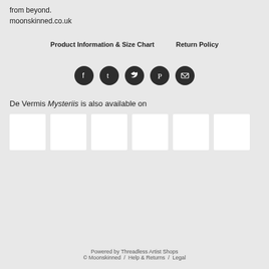from beyond.
moonskinned.co.uk
Product Information & Size Chart   Return Policy
[Figure (infographic): Row of 5 social media icon buttons (Facebook, Tumblr, Twitter, Pinterest, Email) as dark circular icons]
De Vermis Mysteriis is also available on
[Figure (infographic): Row of 6 white thumbnail placeholder boxes representing available products on other platforms]
Powered by Threadless Artist Shops
© Moonskinned / Help & Returns / Legal